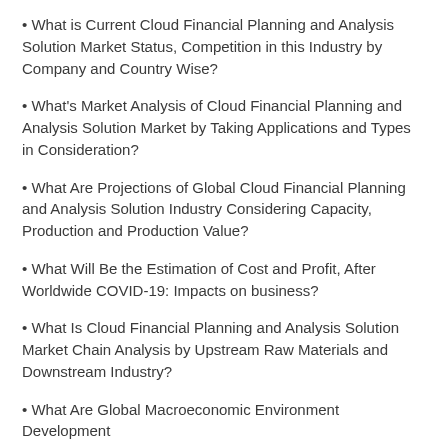• What is Current Cloud Financial Planning and Analysis Solution Market Status, Competition in this Industry by Company and Country Wise?
• What's Market Analysis of Cloud Financial Planning and Analysis Solution Market by Taking Applications and Types in Consideration?
• What Are Projections of Global Cloud Financial Planning and Analysis Solution Industry Considering Capacity, Production and Production Value?
• What Will Be the Estimation of Cost and Profit, After Worldwide COVID-19: Impacts on business?
• What Is Cloud Financial Planning and Analysis Solution Market Chain Analysis by Upstream Raw Materials and Downstream Industry?
• What Are Global Macroeconomic Environment Development